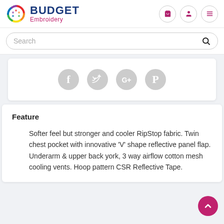BUDGET Embroidery
[Figure (screenshot): Search bar with magnifying glass icon]
[Figure (infographic): Social media share icons: Facebook, Twitter, Google+, Pinterest]
Feature
Softer feel but stronger and cooler RipStop fabric. Twin chest pocket with innovative 'V' shape reflective panel flap. Underarm & upper back york, 3 way airflow cotton mesh cooling vents. Hoop pattern CSR Reflective Tape.